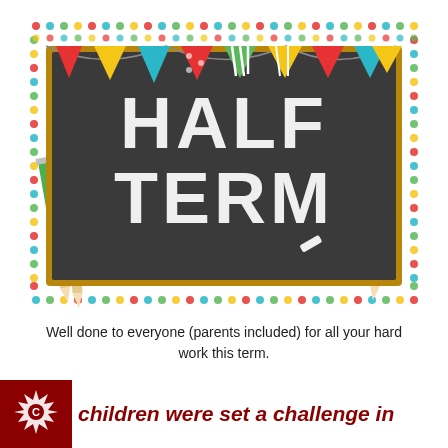[Figure (illustration): A colourful half-term themed image featuring a dark chalkboard with 'HALF TERM' written in bold white chalk-effect text, decorated with multicoloured bunting pennants (red, yellow, teal, green, red polka-dot, yellow) along the top, coloured pencils (green, red) on the left side and a blue pencil on the right, all set against a white background with multicoloured polka-dot border.]
Well done to everyone (parents included) for all your hard work this term.
children were set a challenge in